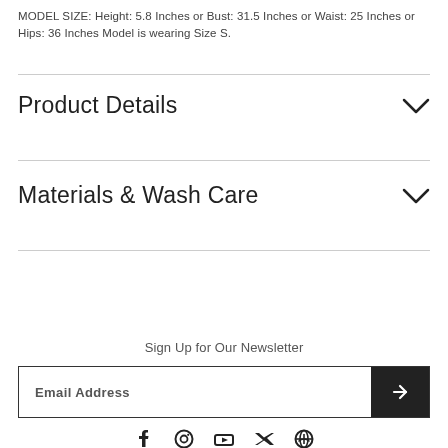MODEL SIZE: Height: 5.8 Inches or Bust: 31.5 Inches or Waist: 25 Inches or Hips: 36 Inches Model is wearing Size S.
Product Details
Materials & Wash Care
Sign Up for Our Newsletter
Email Address